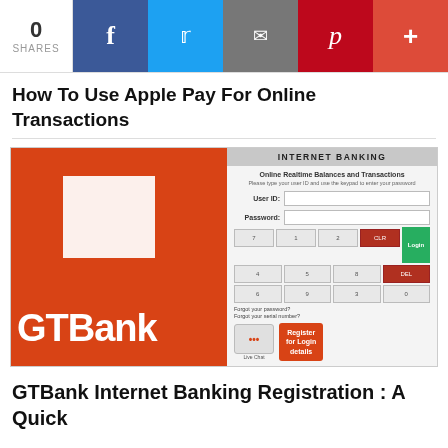0 SHARES | f | Twitter | Email | Pinterest | +
How To Use Apple Pay For Online Transactions
[Figure (screenshot): GTBank Internet Banking login page screenshot showing orange GTBank branding on the left, and internet banking portal with User ID and Password fields, numeric keypad, and Register for Login details button on the right.]
GTBank Internet Banking Registration : A Quick